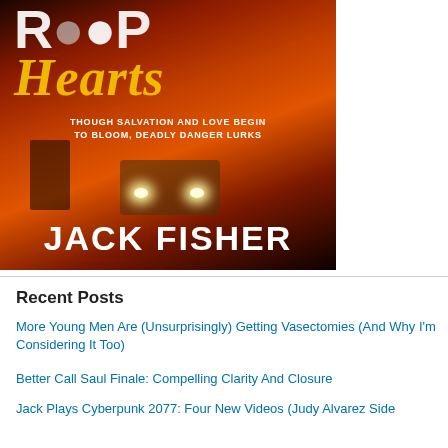[Figure (photo): Book cover for a novel by Jack Fisher. Dark reddish-orange background suggesting fire. Title text partially visible at top reading 'Hearts' in stylized yellow italic lettering. Subtitle reads 'THOUGH SALVATION AND LOVE BEGIN TO BLOOM, DEADLY DANGER LURKS'. Silhouette of a firefighter and a truck with bright headlights in foreground. Author name 'JACK FISHER' in large white bold text at bottom.]
Recent Posts
More Young Men Are (Unsurprisingly) Getting Vasectomies (And Why I'm Considering It Too)
Better Call Saul Finale: Compelling Clarity And Closure
Jack Plays Cyberpunk 2077: Four New Videos (Judy Alvarez Side